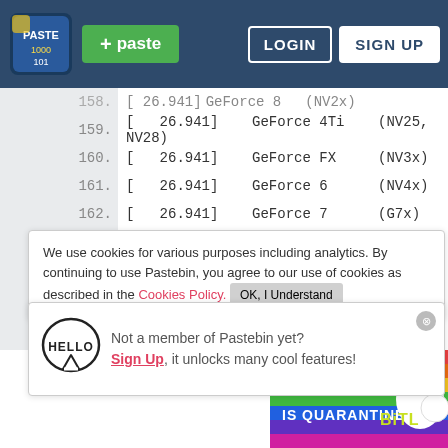[Figure (screenshot): Pastebin website header with logo, green paste button, LOGIN and SIGN UP buttons on dark blue background]
158. [   26.941]    GeForce 8       (NV2x)
159. [   26.941]    GeForce 4Ti     (NV25, NV28)
160. [   26.941]    GeForce FX      (NV3x)
161. [   26.941]    GeForce 6       (NV4x)
162. [   26.941]    GeForce 7       (G7x)
163. [
164. [
165. [
166. [
167. [
ch
168. [
[   26.942]    RIVA TNT2       (NV05)
We use cookies for various purposes including analytics. By continuing to use Pastebin, you agree to our use of cookies as described in the Cookies Policy. OK, I Understand
Not a member of Pastebin yet? Sign Up, it unlocks many cool features!
[Figure (illustration): Rainbow colored advertisement banner with text WHEN REAL LIFE IS QUARANTINED and BitL logo]